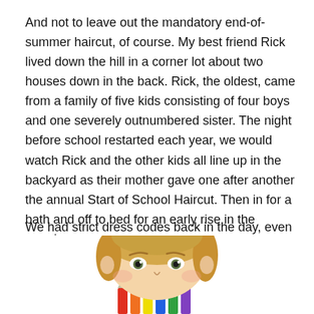And not to leave out the mandatory end-of-summer haircut, of course. My best friend Rick lived down the hill in a corner lot about two houses down in the back. Rick, the oldest, came from a family of five kids consisting of four boys and one severely outnumbered sister. The night before school restarted each year, we would watch Rick and the other kids all line up in the backyard as their mother gave one after another the annual Start of School Haircut. Then in for a bath and off to bed for an early rise in the morning.
We had strict dress codes back in the day, even in the public schools I attended. Girls were required to wear a
[Figure (photo): Partial photo of a young child's face (blonde hair) seen from just above the nose upward, with colorful crayon/pencil tops visible at the bottom of the image.]